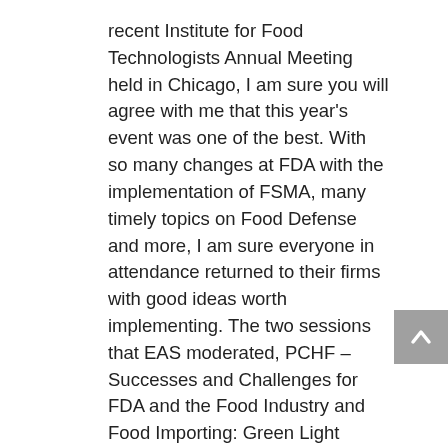recent Institute for Food Technologists Annual Meeting held in Chicago, I am sure you will agree with me that this year's event was one of the best. With so many changes at FDA with the implementation of FSMA, many timely topics on Food Defense and more, I am sure everyone in attendance returned to their firms with good ideas worth implementing. The two sessions that EAS moderated, PCHF – Successes and Challenges for FDA and the Food Industry and Food Importing: Green Light Strategies for Compliance with Game-Changing FSVP Requirements were both well attended with lively discussions. We'd like to thank the panelists who joined us – JoAnn Givens from FDA, Jeff Acker from DFA who participated in the PCHF session, Bob Brackett from IIT and EAS Independent Consultant, Susan Moyers, who participated in both PCHF and FSVP sessions and Erika Daniel from our Italian partner Almater who participated in our FSVP